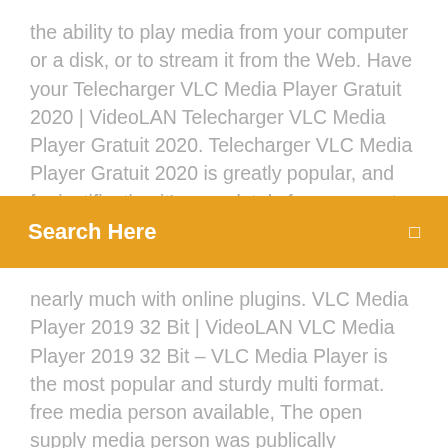the ability to play media from your computer or a disk, or to stream it from the Web. Have your Telecharger VLC Media Player Gratuit 2020 | VideoLAN Telecharger VLC Media Player Gratuit 2020. Telecharger VLC Media Player Gratuit 2020 is greatly popular, and for justification it's completely free, supports virtually all record formats without the need to
[Figure (screenshot): Orange search bar with white text 'Search Here' and a small search icon on the right]
nearly much with online plugins. VLC Media Player 2019 32 Bit | VideoLAN VLC Media Player 2019 32 Bit – VLC Media Player is the most popular and sturdy multi format. free media person available, The open supply media person was publically introduced in 2001 by non-profit organization VideoLAN Project. VLC Media Player 2019 32 Bit rapidly became highly popular because of its adaptable multi-format play functions, It was helped by compatibility and codec dilemmas ... Download official VLC media player for Windows - VideoLAN